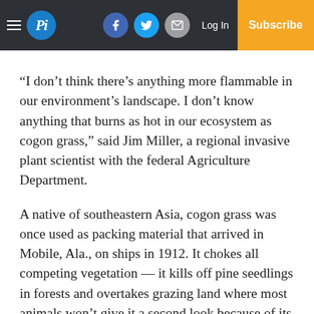Pi | Log In | Subscribe
“I don’t think there’s anything more flammable in our environment’s landscape. I don’t know anything that burns as hot in our ecosystem as cogon grass,” said Jim Miller, a regional invasive plant scientist with the federal Agriculture Department.
A native of southeastern Asia, cogon grass was once used as packing material that arrived in Mobile, Ala., on ships in 1912. It chokes all competing vegetation — it kills off pine seedlings in forests and overtakes grazing land where most animals won’t give it a second look because of its saw-toothed leaves.